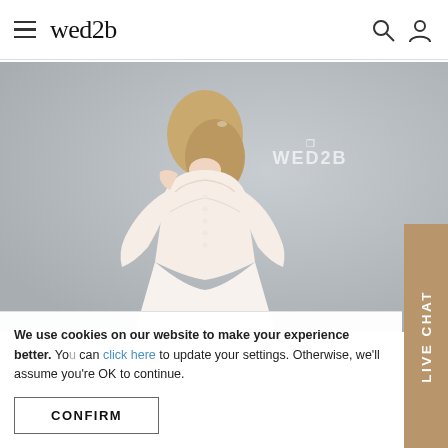wed2b
[Figure (photo): Woman from behind wearing a lace wedding dress with illusion back and 3/4 sleeves, with WED2B watermark logo in upper right corner]
We use cookies on our website to make your experience better. You can click here to update your settings. Otherwise, we'll assume you're OK to continue.
CONFIRM
LIVE CHAT